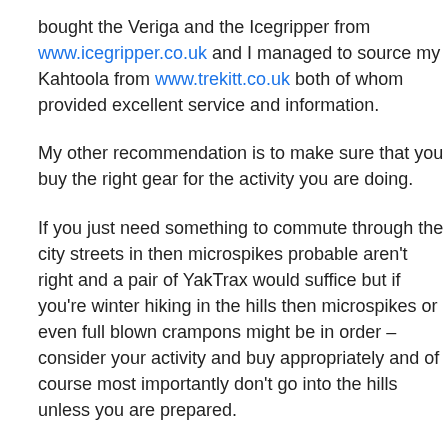bought the Veriga and the Icegripper from www.icegripper.co.uk and I managed to source my Kahtoola from www.trekitt.co.uk both of whom provided excellent service and information.
My other recommendation is to make sure that you buy the right gear for the activity you are doing.
If you just need something to commute through the city streets in then microspikes probable aren't right and a pair of YakTrax would suffice but if you're winter hiking in the hills then microspikes or even full blown crampons might be in order – consider your activity and buy appropriately and of course most importantly don't go into the hills unless you are prepared.
Enjoy.